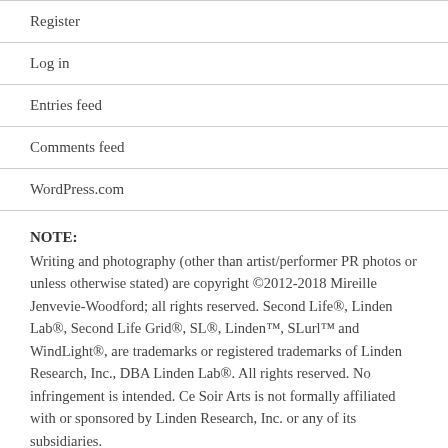Register
Log in
Entries feed
Comments feed
WordPress.com
NOTE:
Writing and photography (other than artist/performer PR photos or unless otherwise stated) are copyright ©2012-2018 Mireille Jenvevie-Woodford; all rights reserved. Second Life®, Linden Lab®, Second Life Grid®, SL®, Linden™, SLurl™ and WindLight®, are trademarks or registered trademarks of Linden Research, Inc., DBA Linden Lab®. All rights reserved. No infringement is intended. Ce Soir Arts is not formally affiliated with or sponsored by Linden Research, Inc. or any of its subsidiaries.